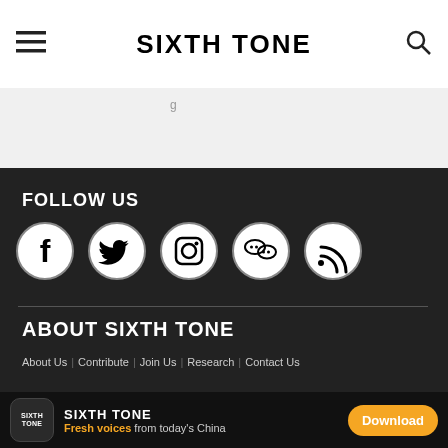SIXTH TONE
[Figure (screenshot): Sixth Tone website screenshot showing navigation header with hamburger menu, SIXTH TONE logo, and search icon]
FOLLOW US
[Figure (infographic): Social media icons: Facebook, Twitter, Instagram, WeChat, RSS — white icons on dark circular backgrounds]
ABOUT SIXTH TONE
About Us | Contribute | Join Us | Research | Contact Us
[Figure (infographic): App download banner: Sixth Tone app icon, SIXTH TONE name, Fresh voices from today's China tagline, Download button]